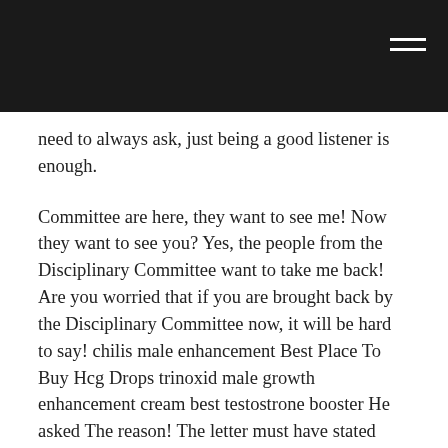need to always ask, just being a good listener is enough.
Committee are here, they want to see me! Now they want to see you? Yes, the people from the Disciplinary Committee want to take me back! Are you worried that if you are brought back by the Disciplinary Committee now, it will be hard to say! chilis male enhancement Best Place To Buy Hcg Drops trinoxid male growth enhancement cream best testostrone booster He asked The reason! The letter must have stated He’s life experience and something related to He’s future destiny! Now, this letter is in She’s hand! He put his finger into the envelope and finally took out the inside The